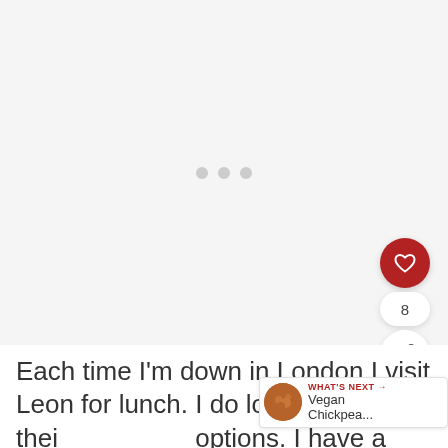[Figure (photo): Blank/loading image area with three grey loading dots centered, a red heart like button, share count '8', and share button on the right side]
Each time I'm down in London I visit Leon for lunch. I do love thei options. I have a few of their books